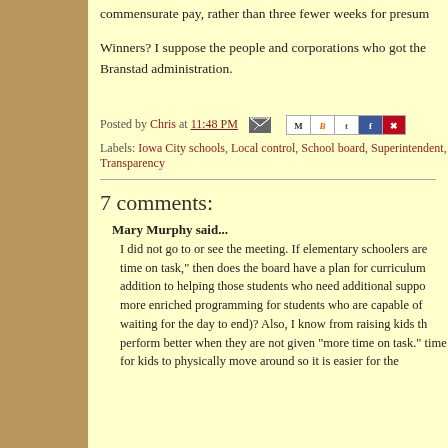commensurate pay, rather than three fewer weeks for presum
Winners? I suppose the people and corporations who got the Branstad administration.
Posted by Chris at 11:48 PM
Labels: Iowa City schools, Local control, School board, Superintendent, Transparency
7 comments:
Mary Murphy said...
I did not go to or see the meeting. If elementary schoolers are time on task, then does the board have a plan for curriculum addition to helping those students who need additional suppo more enriched programming for students who are capable of waiting for the day to end)? Also, I know from raising kids th perform better when they are not given "more time on task." time for kids to physically move around so it is easier for the